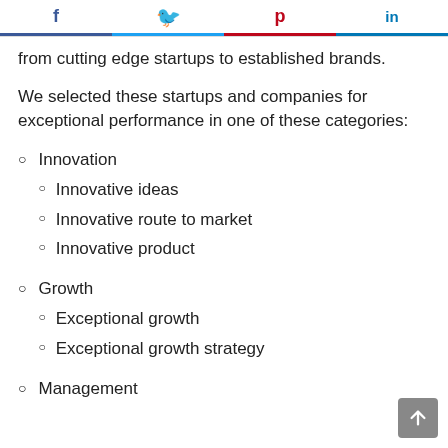Social share buttons: Facebook, Twitter, Pinterest, LinkedIn
from cutting edge startups to established brands.
We selected these startups and companies for exceptional performance in one of these categories:
Innovation
Innovative ideas
Innovative route to market
Innovative product
Growth
Exceptional growth
Exceptional growth strategy
Management